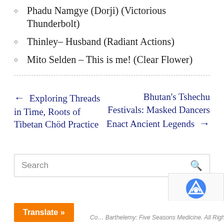Phadu Namgye (Dorji) (Victorious Thunderbolt)
Thinley- Husband (Radiant Actions)
Mito Selden – This is me! (Clear Flower)
← Exploring Threads in Time, Roots of Tibetan Chöd Practice
Bhutan's Tshechu Festivals: Masked Dancers Enact Ancient Legends →
Search
Co... Barthelemy: Five Seasons Medicine. All Rights...
Translate »